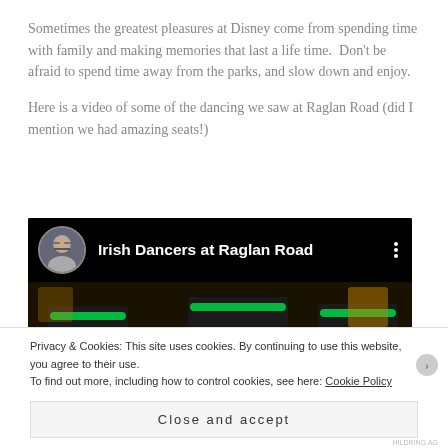Sometimes the greatest pleasures at Disney come from spending time with family and making memories that last a life time.  Don't be afraid to spend time away from the parks, and slow down and enjoy.
Here is a video of some of the dancing we saw at Raglan Road (did I mention we had amazing seats!)
[Figure (screenshot): Video thumbnail showing 'Irish Dancers at Raglan Road' with a circular avatar photo of a person with glasses, white text title, three-dot menu icon, and a dark scene of a stage with green and blue LED light bars]
Privacy & Cookies: This site uses cookies. By continuing to use this website, you agree to their use.
To find out more, including how to control cookies, see here: Cookie Policy
Close and accept